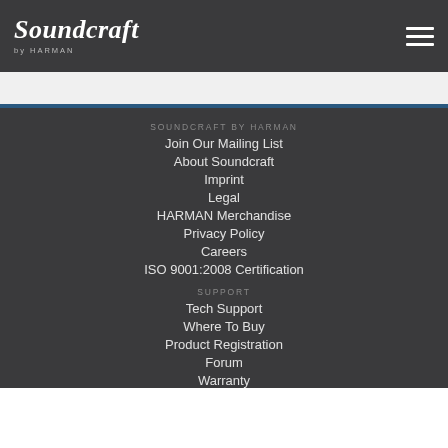Soundcraft by HARMAN
SOUNDCRAFT BY HARMAN
Join Our Mailing List
About Soundcraft
Imprint
Legal
HARMAN Merchandise
Privacy Policy
Careers
ISO 9001:2008 Certification
SUPPORT
Tech Support
Where To Buy
Product Registration
Forum
Warranty